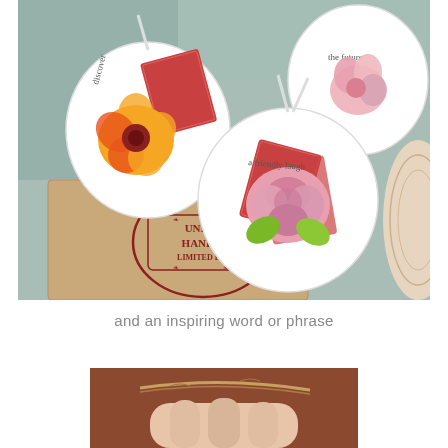[Figure (photo): Handmade clay or wood slice ornament tags with floral illustrations and text phrases like 'discover', 'a friendly laugh', 'the future'. Tags sit on a kraft paper box stamped with 'UNIQUE HANDMADE LIMITED EDITION'. Background is a sage green fabric.]
and an inspiring word or phrase
[Figure (photo): Close-up of fingers holding a piece of twine/jute string against a warm brown background.]